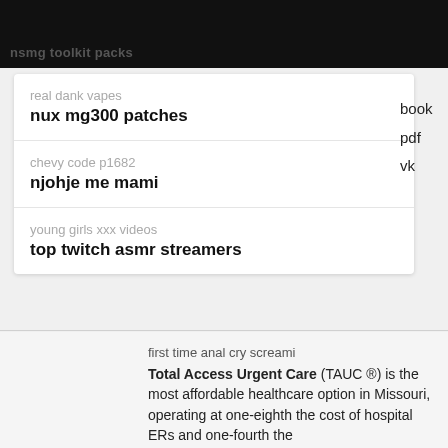nsmg toolkit packs
real dank vapes
nux mg300 patches
chevy code p1682
njohje me mami
young girls xxx videos
top twitch asmr streamers
book
pdf
vk
first time anal cry screami
Total Access Urgent Care (TAUC ®) is the most affordable healthcare option in Missouri, operating at one-eighth the cost of hospital ERs and one-fourth the